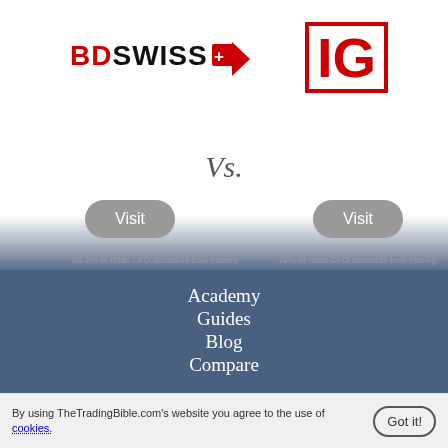[Figure (logo): BDSwiss logo with red BD text, black SWISS text, and red plus/arrow symbol]
[Figure (logo): IG logo with large red bold letters IG in a red outline box]
Vs.
[Figure (other): Grey rounded rectangle Visit button for BDSwiss]
[Figure (other): Grey rounded rectangle Visit button for IG]
69.2% of retail CFD accounts lose money.
79% of retail CFD accounts lose money.
Academy
Guides
Blog
Compare
By using TheTradingBible.com's website you agree to the use of cookies.